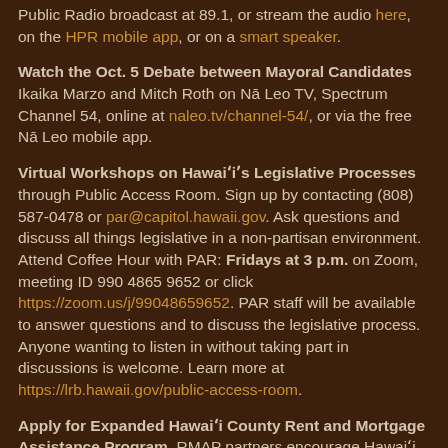Public Radio broadcast at 89.1, or stream the audio here, on the HPR mobile app, or on a smart speaker.
Watch the Oct. 5 Debate between Mayoral Candidates Ikaika Marzo and Mitch Roth on Nā Leo TV, Spectrum Channel 54, online at naleo.tv/channel-54/, or via the free Nā Leo mobile app.
Virtual Workshops on Hawai'i's Legislative Processes through Public Access Room. Sign up by contacting (808) 587-0478 or par@capitol.hawaii.gov. Ask questions and discuss all things legislative in a non-partisan environment. Attend Coffee Hour with PAR: Fridays at 3 p.m. on Zoom, meeting ID 990 4865 9652 or click https://zoom.us/j/99048659652. PAR staff will be available to answer questions and to discuss the legislative process. Anyone wanting to listen in without taking part in discussions is welcome. Learn more at https://lrb.hawaii.gov/public-access-room.
Apply for Expanded Hawai'i County Rent and Mortgage Assistance Program. RMAP partners encourage Hawai'i...